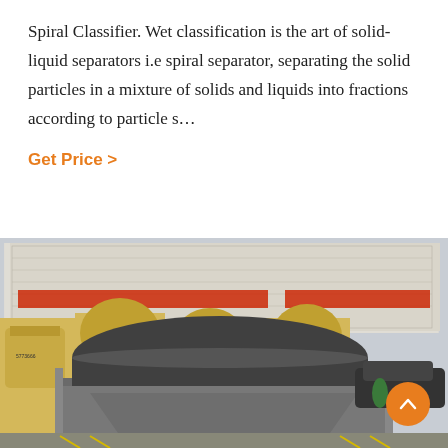Spiral Classifier. Wet classification is the art of solid-liquid separators i.e spiral separator, separating the solid particles in a mixture of solids and liquids into fractions according to particle s…
Get Price >
[Figure (photo): Outdoor industrial scene showing a large gray magnetic separator machine in the foreground, with yellow industrial crushers/machinery and a multi-story factory building with Chinese text banners in the background. Parking lot with yellow line markings visible.]